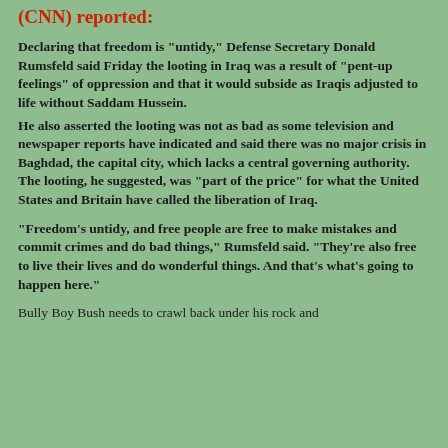(CNN) reported:
Declaring that freedom is "untidy," Defense Secretary Donald Rumsfeld said Friday the looting in Iraq was a result of "pent-up feelings" of oppression and that it would subside as Iraqis adjusted to life without Saddam Hussein.
He also asserted the looting was not as bad as some television and newspaper reports have indicated and said there was no major crisis in Baghdad, the capital city, which lacks a central governing authority. The looting, he suggested, was "part of the price" for what the United States and Britain have called the liberation of Iraq.
"Freedom's untidy, and free people are free to make mistakes and commit crimes and do bad things," Rumsfeld said. "They're also free to live their lives and do wonderful things. And that's what's going to happen here."
Bully Boy Bush needs to crawl back under his rock and